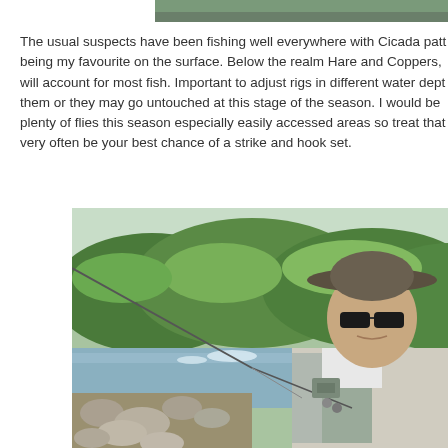[Figure (photo): Top portion of a photo cropped at the top of the page, showing a partial outdoor scene]
The usual suspects have been fishing well everywhere with Cicada patt being my favourite on the surface. Below the realm Hare and Coppers, will account for most fish. Important to adjust rigs in different water dept them or they may go untouched at this stage of the season. I would be plenty of flies this season especially easily accessed areas so treat that very often be your best chance of a strike and hook set.
[Figure (photo): A man wearing a wide-brim hat and sunglasses holding a fishing rod, standing by a rocky river with lush green forested hills in the background. He is wearing a fishing vest.]